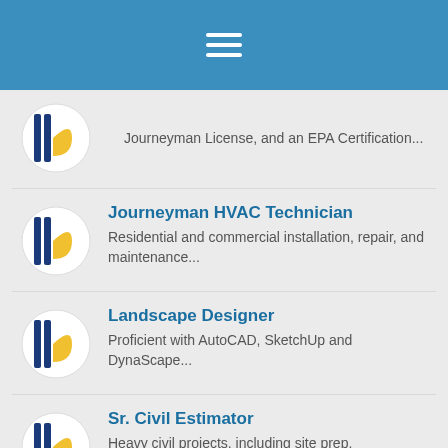[Figure (logo): Mobile app header bar with hamburger menu icon]
Journeyman License, and an EPA Certification...
Journeyman HVAC Technician — Residential and commercial installation, repair, and maintenance...
Landscape Designer — Proficient with AutoCAD, SketchUp and DynaScape...
Sr. Civil Estimator — Heavy civil projects, including site prep, underground utilities, asphalt paving, concrete, and earthwork...
< 1 2 3 4 ... 12 >